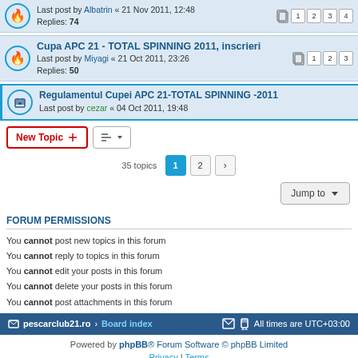Last post by Albatrin « 21 Nov 2011, 12:48 Replies: 74 [pages 1 2 3 4]
Cupa APC 21 - TOTAL SPINNING 2011, inscrieri
Last post by Miyagi « 21 Oct 2011, 23:26
Replies: 50 [pages 1 2 3]
Regulamentul Cupei APC 21-TOTAL SPINNING -2011
Last post by cezar « 04 Oct 2011, 19:48
35 topics  1  2  >
Jump to
FORUM PERMISSIONS
You cannot post new topics in this forum
You cannot reply to topics in this forum
You cannot edit your posts in this forum
You cannot delete your posts in this forum
You cannot post attachments in this forum
pescarclub21.ro  Board index   All times are UTC+03:00
Powered by phpBB® Forum Software © phpBB Limited
Privacy | Terms